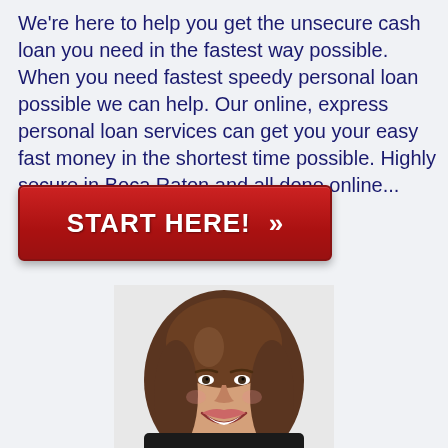We're here to help you get the unsecure cash loan you need in the fastest way possible. When you need fastest speedy personal loan possible we can help. Our online, express personal loan services can get you your easy fast money in the shortest time possible. Highly secure in Boca Raton and all done online...
[Figure (other): Red button with white text reading 'START HERE!' and double chevron arrows pointing right]
[Figure (photo): Photo of a smiling young woman with long brown wavy hair, wearing a dark top, cropped at the shoulders]